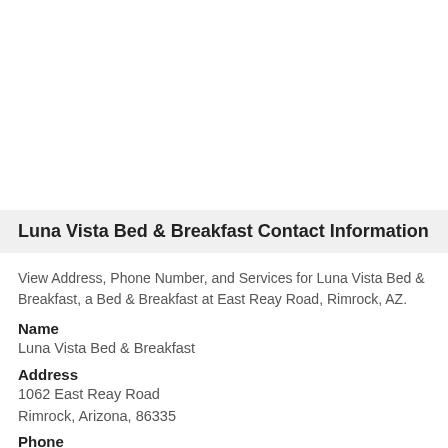Luna Vista Bed & Breakfast Contact Information
View Address, Phone Number, and Services for Luna Vista Bed & Breakfast, a Bed & Breakfast at East Reay Road, Rimrock, AZ.
Name
Luna Vista Bed & Breakfast
Address
1062 East Reay Road
Rimrock, Arizona, 86335
Phone